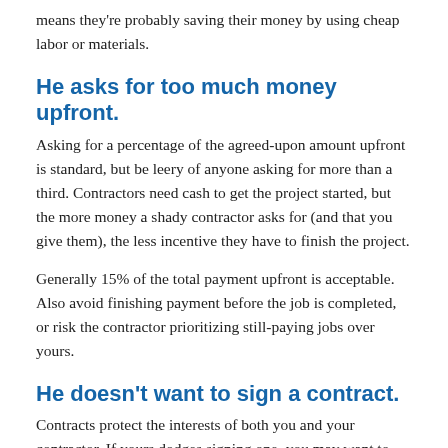means they're probably saving their money by using cheap labor or materials.
He asks for too much money upfront.
Asking for a percentage of the agreed-upon amount upfront is standard, but be leery of anyone asking for more than a third. Contractors need cash to get the project started, but the more money a shady contractor asks for (and that you give them), the less incentive they have to finish the project.
Generally 15% of the total payment upfront is acceptable. Also avoid finishing payment before the job is completed, or risk the contractor prioritizing still-paying jobs over yours.
He doesn't want to sign a contract.
Contracts protect the interests of both you and your contractor. If yours dodges signing one, you may want to